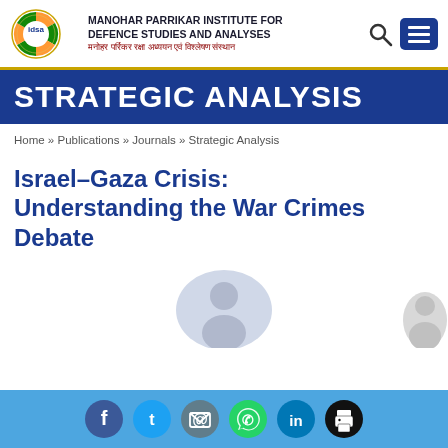[Figure (logo): IDSA logo with circular emblem and organization name text]
STRATEGIC ANALYSIS
Home » Publications » Journals » Strategic Analysis
Israel–Gaza Crisis: Understanding the War Crimes Debate
[Figure (illustration): Generic user/author avatar placeholder - grey circle with person silhouette]
[Figure (illustration): Social media share bar with Facebook, Twitter, Email, WhatsApp, LinkedIn, Print icons]